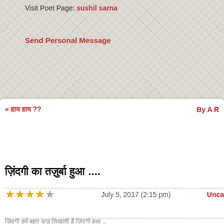Visit Poet Page: sushil sarna
Send Personal Message
« हाय हाय ?? By A R
ज़िंदगी का तज़ुर्बा हुआ ....
★★★★☆ July 5, 2017 (2:15 pm) Unca
ज़िंदगी हमें बहुत कुछ सिखाती है ज़िंदगी हुआ ..